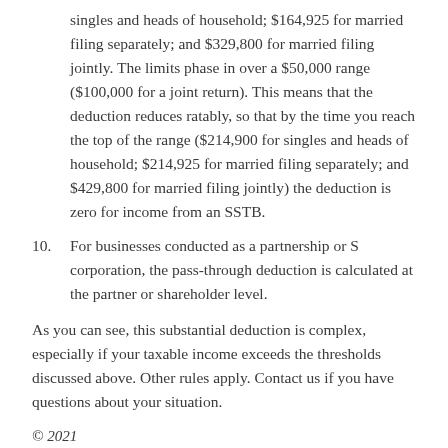singles and heads of household; $164,925 for married filing separately; and $329,800 for married filing jointly. The limits phase in over a $50,000 range ($100,000 for a joint return). This means that the deduction reduces ratably, so that by the time you reach the top of the range ($214,900 for singles and heads of household; $214,925 for married filing separately; and $429,800 for married filing jointly) the deduction is zero for income from an SSTB.
10.  For businesses conducted as a partnership or S corporation, the pass-through deduction is calculated at the partner or shareholder level.
As you can see, this substantial deduction is complex, especially if your taxable income exceeds the thresholds discussed above. Other rules apply. Contact us if you have questions about your situation.
© 2021